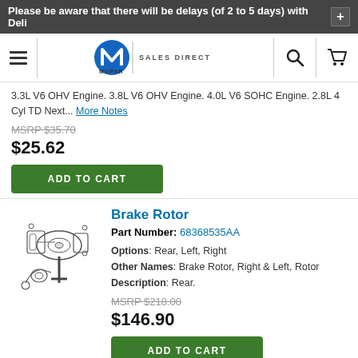Please be aware that there will be delays (of 2 to 5 days) with Deli
[Figure (logo): Mopar Sales Direct logo with hamburger menu, search, and cart icons]
3.3L V6 OHV Engine. 3.8L V6 OHV Engine. 4.0L V6 SOHC Engine. 2.8L 4 Cyl TD Next... More Notes
MSRP $35.70
$25.62
ADD TO CART
Brake Rotor
Part Number: 68368535AA
Options: Rear, Left, Right
Other Names: Brake Rotor, Right & Left, Rotor
Description: Rear.
[Figure (illustration): Technical illustration of brake rotor assembly parts]
MSRP $218.00
$146.90
ADD TO CART